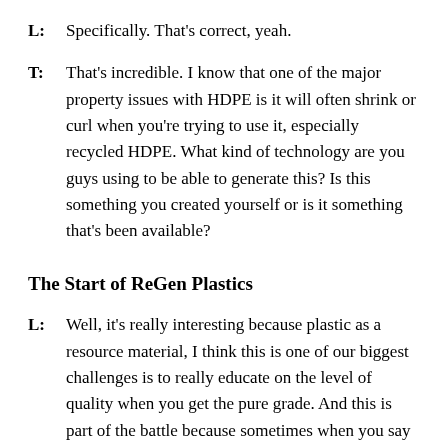L: Specifically. That's correct, yeah.
T: That's incredible. I know that one of the major property issues with HDPE is it will often shrink or curl when you're trying to use it, especially recycled HDPE. What kind of technology are you guys using to be able to generate this? Is this something you created yourself or is it something that's been available?
The Start of ReGen Plastics
L: Well, it's really interesting because plastic as a resource material, I think this is one of our biggest challenges is to really educate on the level of quality when you get the pure grade. And this is part of the battle because sometimes when you say plastic, people do think of a material that is low grade, low performance.
L: My husband, he's been in plastics for over 30